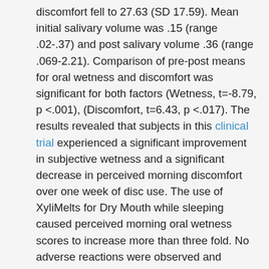discomfort fell to 27.63 (SD 17.59). Mean initial salivary volume was .15 (range .02-.37) and post salivary volume .36 (range .069-2.21). Comparison of pre-post means for oral wetness and discomfort was significant for both factors (Wetness, t=-8.79, p <.001), (Discomfort, t=6.43, p <.017). The results revealed that subjects in this clinical trial experienced a significant improvement in subjective wetness and a significant decrease in perceived morning discomfort over one week of disc use. The use of XyliMelts for Dry Mouth while sleeping caused perceived morning oral wetness scores to increase more than three fold. No adverse reactions were observed and several subjects reported less sleep disturbance. All tasted the XyliMelts when they awoke although the discs were judged to dissolve within about an average of 1.18 hours after placement [8].
Hyposalivation that occurs during sleep is normal but if severe can disturb sleep. Severe night time dryness may